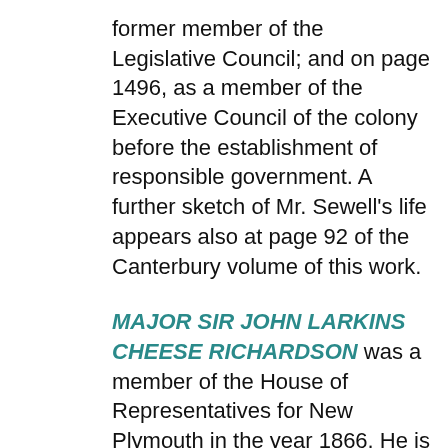former member of the Legislative Council; and on page 1496, as a member of the Executive Council of the colony before the establishment of responsible government. A further sketch of Mr. Sewell's life appears also at page 92 of the Canterbury volume of this work.
MAJOR SIR JOHN LARKINS CHEESE RICHARDSON was a member of the House of Representatives for New Plymouth in the year 1866. He is referred to as a former member of the Government, on page 69 of the first volume of the Cyclopedia of New Zealand, and as an ex-Speaker of the Legislative Council, on page 99 of the same volume. At page 36 of the Otago volume there is an excellent portrait of Sir John Richardson, who is